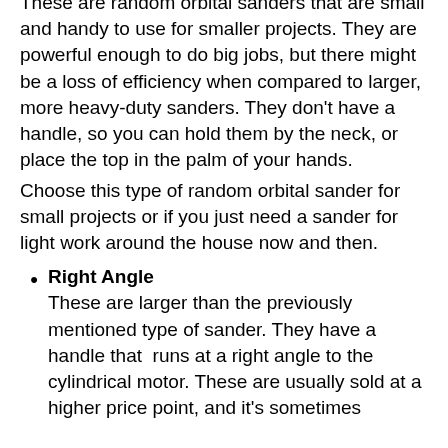These are random orbital sanders that are small and handy to use for smaller projects. They are powerful enough to do big jobs, but there might be a loss of efficiency when compared to larger, more heavy-duty sanders. They don't have a handle, so you can hold them by the neck, or place the top in the palm of your hands.
Choose this type of random orbital sander for small projects or if you just need a sander for light work around the house now and then.
Right Angle
These are larger than the previously mentioned type of sander. They have a handle that  runs at a right angle to the cylindrical motor. These are usually sold at a higher price point, and it's sometimes